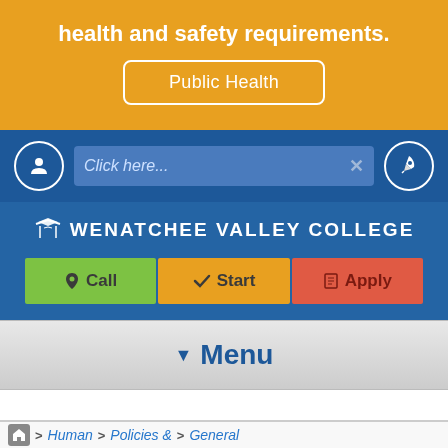health and safety requirements.
Public Health
[Figure (screenshot): Navy blue search bar with user icon circle on left, text input field with 'Click here...' placeholder and X button, and rocket icon circle on right]
[Figure (logo): Wenatchee Valley College logo and navigation header with Call, Start, Apply buttons]
▼ Menu
> Human > Policies & > General breadcrumb navigation